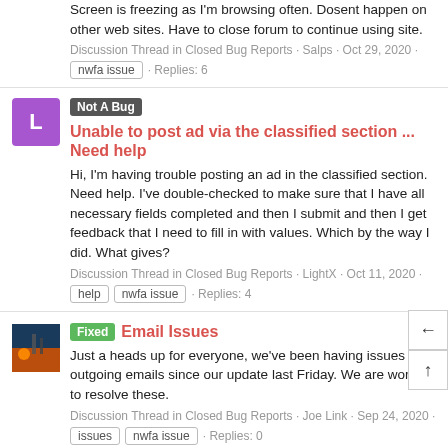Screen is freezing as I'm browsing often. Dosent happen on other web sites. Have to close forum to continue using site.
Discussion Thread in Closed Bug Reports · Salps · Oct 29, 2020 · nwfa issue · Replies: 6
Not A Bug  Unable to post ad via the classified section ... Need help
Hi, I'm having trouble posting an ad in the classified section. Need help. I've double-checked to make sure that I have all necessary fields completed and then I submit and then I get feedback that I need to fill in with values. Which by the way I did. What gives?
Discussion Thread in Closed Bug Reports · LightX · Oct 11, 2020 · help · nwfa issue · Replies: 4
Fixed  Email Issues
Just a heads up for everyone, we've been having issues with outgoing emails since our update last Friday. We are working to resolve these.
Discussion Thread in Closed Bug Reports · Joe Link · Sep 24, 2020 · issues · nwfa issue · Replies: 0
Fixed  Alert thread titles not bold on mobile
When I'm on desktop (I use Chrome on a PC), and I click the alerts...